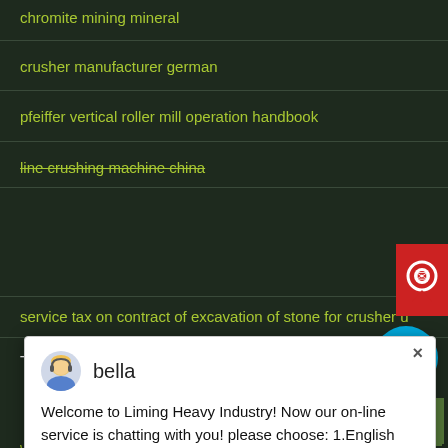chromite mining mineral
crusher manufacturer german
pfeiffer vertical roller mill operation handbook
line crushing machine china
[Figure (screenshot): Chat popup from Liming Heavy Industry. Avatar of bella. Message: Welcome to Liming Heavy Industry! Now our on-line service is chatting with you! please choose: 1.English]
service tax on contract of excavation of stone for crusher u
Tempor Pellentesque Eget
working principle of crushing plant
how to asses the cement plant machinery life